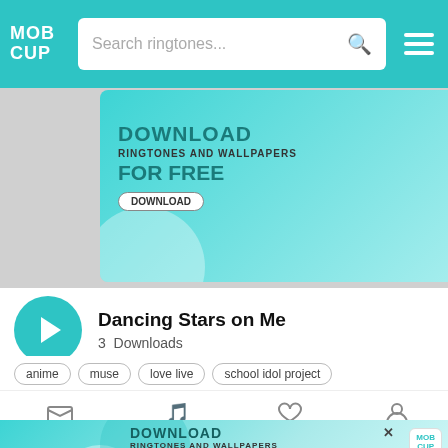MOB CUP — Search ringtones...
[Figure (screenshot): MobCup banner advertisement: DOWNLOAD RINGTONES AND WALLPAPERS FOR FREE with Download button and MobCup logo]
Dancing Stars on Me
3  Downloads
anime
muse
love live
school idol project
Download
Wallpaper  Ringtone  Favorite  Profile
[Figure (screenshot): MobCup banner advertisement at bottom: DOWNLOAD RINGTONES AND WALLPAPERS FOR FREE with Download button]